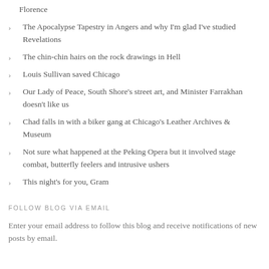Florence
The Apocalypse Tapestry in Angers and why I'm glad I've studied Revelations
The chin-chin hairs on the rock drawings in Hell
Louis Sullivan saved Chicago
Our Lady of Peace, South Shore's street art, and Minister Farrakhan doesn't like us
Chad falls in with a biker gang at Chicago's Leather Archives & Museum
Not sure what happened at the Peking Opera but it involved stage combat, butterfly feelers and intrusive ushers
This night's for you, Gram
FOLLOW BLOG VIA EMAIL
Enter your email address to follow this blog and receive notifications of new posts by email.